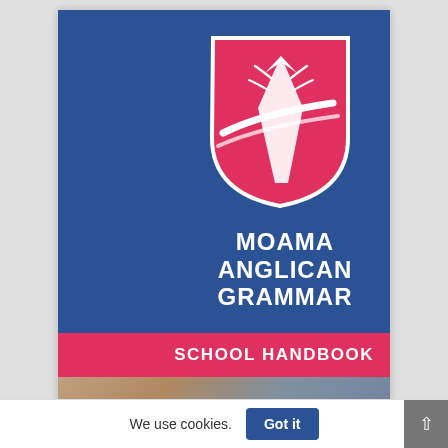[Figure (logo): Moama Anglican Grammar school handbook cover page. Blue background with red shield crest (featuring a white tree and swoosh design) in the upper right. School name 'MOAMA ANGLICAN GRAMMAR' in white bold text. Pink/red banner at bottom reads 'SCHOOL HANDBOOK'. Partial photo of school building at very bottom.]
We use cookies.
Got it